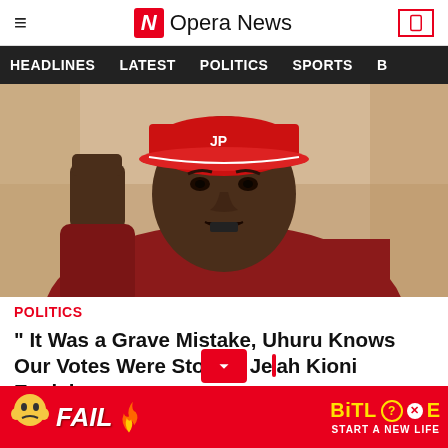≡  N Opera News  [phone icon]
HEADLINES  LATEST  POLITICS  SPORTS  B
[Figure (photo): A man wearing a red cap with letters 'JP' raising his fist and speaking with an intense expression, wearing a red checkered shirt, against a warm beige background.]
POLITICS
" It Was a Grave Mistake, Uhuru Knows Our Votes Were Stolen" Jeremiah Kioni Explains
[Figure (other): Advertisement banner for BitLife game showing 'FAIL' text with cartoon character, flames, and 'START A NEW LIFE' tagline with BitLife logo and question mark icon.]